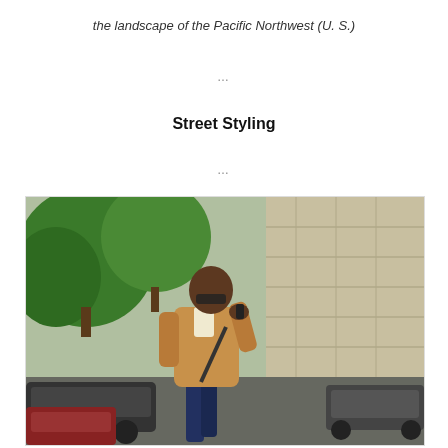the landscape of the Pacific Northwest (U. S.)
...
Street Styling
...
[Figure (photo): A man in a camel blazer walking on a city street, talking on a phone, with green trees and stone building in background, cars parked nearby.]